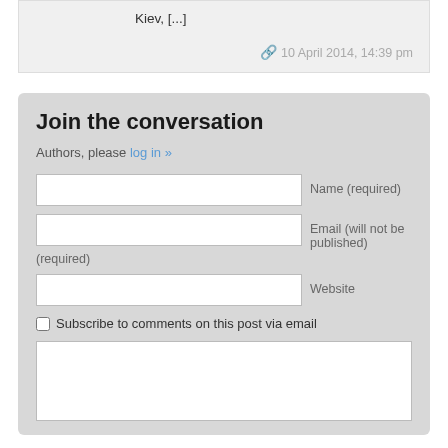Kiev, [...]
10 April 2014, 14:39 pm
Join the conversation
Authors, please log in »
Name (required)
Email (will not be published) (required)
Website
Subscribe to comments on this post via email